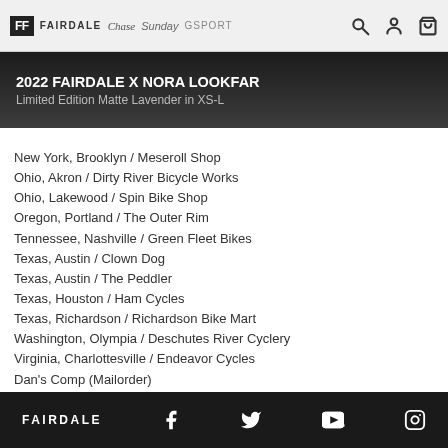FF FAIRDALE Chase Sunday GSPORT
2022 FAIRDALE X NORA LOOKFAR
Limited Edition Matte Lavender in XS-L
New York, Brooklyn / Meseroll Shop
Ohio, Akron / Dirty River Bicycle Works
Ohio, Lakewood / Spin Bike Shop
Oregon, Portland / The Outer Rim
Tennessee, Nashville / Green Fleet Bikes
Texas, Austin / Clown Dog
Texas, Austin / The Peddler
Texas, Houston / Ham Cycles
Texas, Richardson / Richardson Bike Mart
Washington, Olympia / Deschutes River Cyclery
Virginia, Charlottesville / Endeavor Cycles
Dan's Comp (Mailorder)
International Markets
Australia / BMX International
Canada / QBP
Denmark / Sunshine Distribution
FAIRDALE — social icons: Facebook, Twitter, YouTube, Instagram